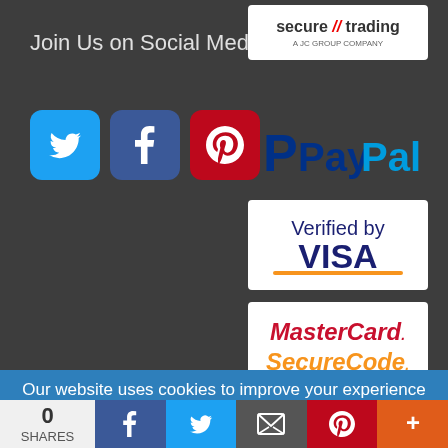Join Us on Social Media
[Figure (logo): Social media icons: Twitter (blue), Facebook (dark blue), Pinterest (red) as rounded square buttons]
[Figure (logo): Secure Trading logo - white background box with 'secure // trading' text]
[Figure (logo): PayPal logo in blue and light blue on dark background]
[Figure (logo): Verified by VISA logo - white box with blue and orange text]
[Figure (logo): MasterCard SecureCode logo - white box with red and orange italic text]
Our website uses cookies to improve your experience as
0
SHARES
[Figure (infographic): Bottom share bar with Facebook, Twitter, Email, Pinterest, and More buttons]